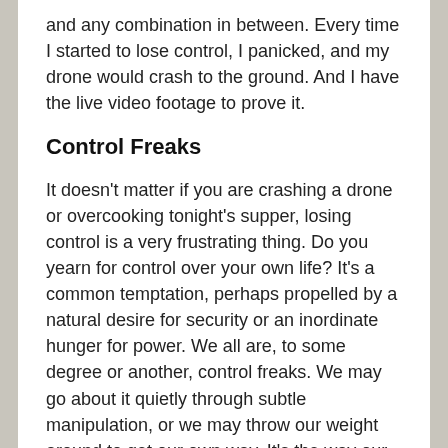and any combination in between. Every time I started to lose control, I panicked, and my drone would crash to the ground. And I have the live video footage to prove it.
Control Freaks
It doesn't matter if you are crashing a drone or overcooking tonight's supper, losing control is a very frustrating thing. Do you yearn for control over your own life? It's a common temptation, perhaps propelled by a natural desire for security or an inordinate hunger for power. We all are, to some degree or another, control freaks. We may go about it quietly through subtle manipulation, or we may throw our weight around to get our own way. It's the way our sinful flesh works; we all are control